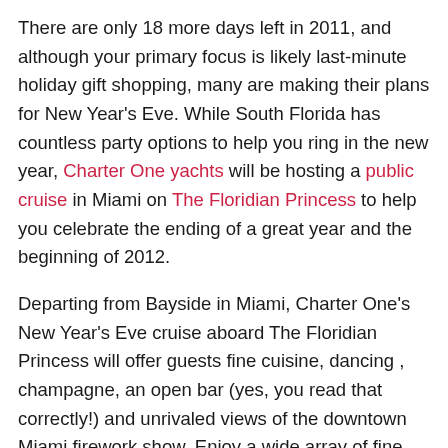There are only 18 more days left in 2011, and although your primary focus is likely last-minute holiday gift shopping, many are making their plans for New Year's Eve. While South Florida has countless party options to help you ring in the new year, Charter One yachts will be hosting a public cruise in Miami on The Floridian Princess to help you celebrate the ending of a great year and the beginning of 2012.
Departing from Bayside in Miami, Charter One's New Year's Eve cruise aboard The Floridian Princess will offer guests fine cuisine, dancing , champagne, an open bar (yes, you read that correctly!) and unrivaled views of the downtown Miami firework show. Enjoy a wide array of fine dishes from a variety of gourmet stations, including a salad bar station, pasta station, meat carving station and dessert station.